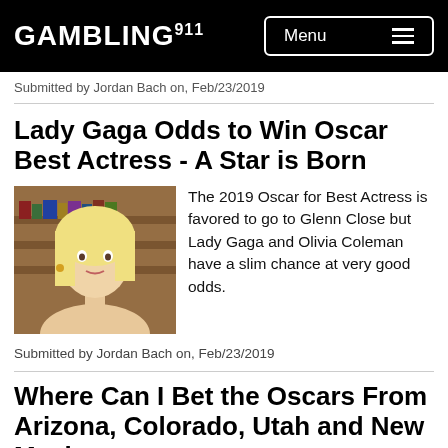GAMBLING911 Menu
Submitted by Jordan Bach on, Feb/23/2019
Lady Gaga Odds to Win Oscar Best Actress - A Star is Born
[Figure (photo): Photo of Lady Gaga with blonde hair]
The 2019 Oscar for Best Actress is favored to go to Glenn Close but Lady Gaga and Olivia Coleman have a slim chance at very good odds.
Submitted by Jordan Bach on, Feb/23/2019
Where Can I Bet the Oscars From Arizona, Colorado, Utah and New Mexico